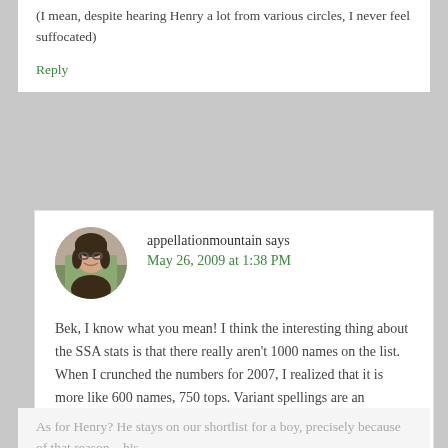(I mean, despite hearing Henry a lot from various circles, I never feel suffocated)
Reply
appellationmountain says
May 26, 2009 at 1:38 PM
Bek, I know what you mean! I think the interesting thing about the SSA stats is that there really aren’t 1000 names on the list. When I crunched the numbers for 2007, I realized that it is more like 600 names, 750 tops. Variant spellings are an interesting phenomenon, and they truly do skew our perception about names’ popularity.
As for Henry? He stays on our shortlist for a boy, precisely because of that reason—his